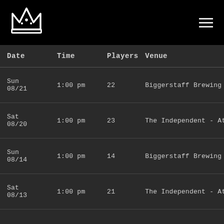[Figure (logo): Crown/bowling logo in white on black background]
| Date | Time | Players | Venue |
| --- | --- | --- | --- |
| Sun
08/21 | 1:00 pm | 22 | Biggerstaff Brewing Company - Atlanta |
| Sat
08/20 | 1:00 pm | 23 | The Independent - Atlanta, GA |
| Sun
08/14 | 1:00 pm | 14 | Biggerstaff Brewing Company - Atlanta |
| Sat
08/13 | 1:00 pm | 21 | The Independent - Atlanta, GA |